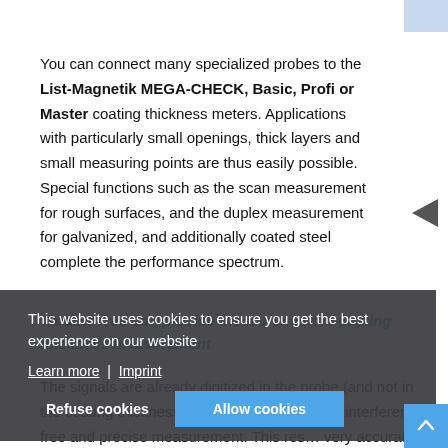You can connect many specialized probes to the List-Magnetik MEGA-CHECK, Basic, Profi or Master coating thickness meters. Applications with particularly small openings, thick layers and small measuring points are thus easily possible. Special functions such as the scan measurement for rough surfaces, and the duplex measurement for galvanized, and additionally coated steel complete the performance spectrum.
Trouble-free and precise measurement in coating thickness measurement
The signals are already digitized in the probe (and not in the coating thickness tester) for an absolutely interference-free and precise measurement. This results in very accurate, reproducible measurements.